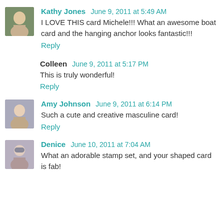[Figure (photo): Avatar photo of Kathy Jones]
Kathy Jones June 9, 2011 at 5:49 AM
I LOVE THIS card Michele!!! What an awesome boat card and the hanging anchor looks fantastic!!!
Reply
Colleen June 9, 2011 at 5:17 PM
This is truly wonderful!
Reply
[Figure (photo): Avatar photo of Amy Johnson]
Amy Johnson June 9, 2011 at 6:14 PM
Such a cute and creative masculine card!
Reply
[Figure (photo): Avatar photo of Denice]
Denice June 10, 2011 at 7:04 AM
What an adorable stamp set, and your shaped card is fab!